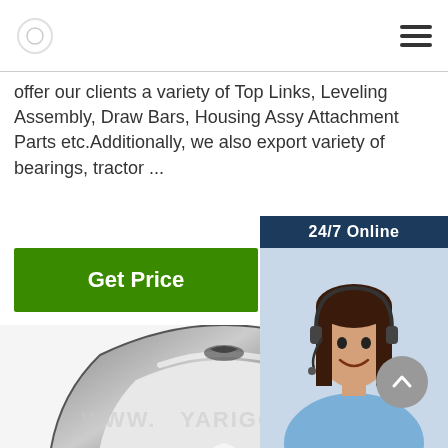Logo and navigation menu
offer our clients a variety of Top Links, Leveling Assembly, Draw Bars, Housing Assy Attachment Parts etc.Additionally, we also export variety of bearings, tractor ...
[Figure (other): Green Get Price button]
[Figure (photo): Customer service representative with headset, 24/7 Online chat panel with QUOTATION button]
[Figure (photo): Close-up photo of a metal wire rope thimble/rigging hardware part]
WWW.YARIGGING.M (watermark)